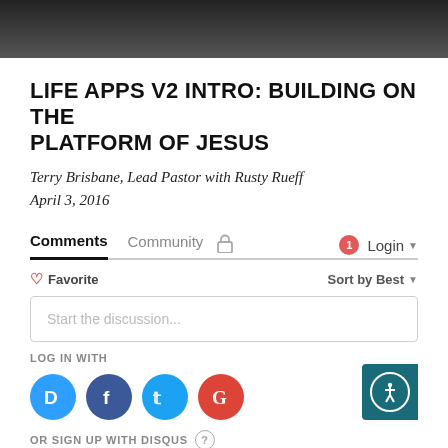[Figure (photo): Dark banner image at top of page]
LIFE APPS V2 INTRO: BUILDING ON THE PLATFORM OF JESUS
Terry Brisbane, Lead Pastor with Rusty Rueff
April 3, 2016
Comments  Community  [lock icon]  [1] Login
Favorite  Sort by Best
Start the discussion...
LOG IN WITH
[Figure (infographic): Social login icons: Disqus (blue), Facebook (dark blue), Twitter (light blue), Google (red)]
OR SIGN UP WITH DISQUS (?)